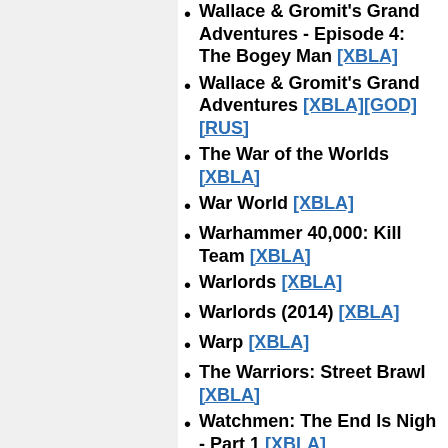Wallace & Gromit's Grand Adventures - Episode 4: The Bogey Man [XBLA]
Wallace & Gromit's Grand Adventures [XBLA][GOD][RUS]
The War of the Worlds [XBLA]
War World [XBLA]
Warhammer 40,000: Kill Team [XBLA]
Warlords [XBLA]
Warlords (2014) [XBLA]
Warp [XBLA]
The Warriors: Street Brawl [XBLA]
Watchmen: The End Is Nigh - Part 1 [XBLA]
Watchmen: The End Is Nigh - Part 2 [XBLA]